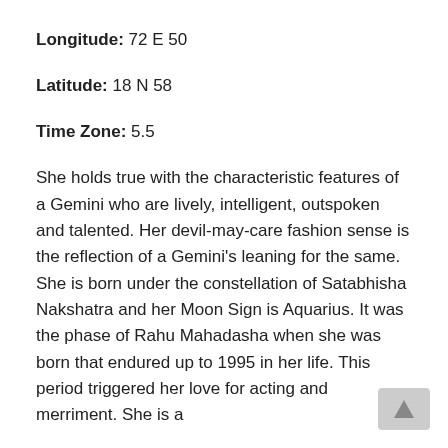Longitude: 72 E 50
Latitude: 18 N 58
Time Zone: 5.5
She holds true with the characteristic features of a Gemini who are lively, intelligent, outspoken and talented. Her devil-may-care fashion sense is the reflection of a Gemini's leaning for the same. She is born under the constellation of Satabhisha Nakshatra and her Moon Sign is Aquarius. It was the phase of Rahu Mahadasha when she was born that endured up to 1995 in her life. This period triggered her love for acting and merriment. She is a